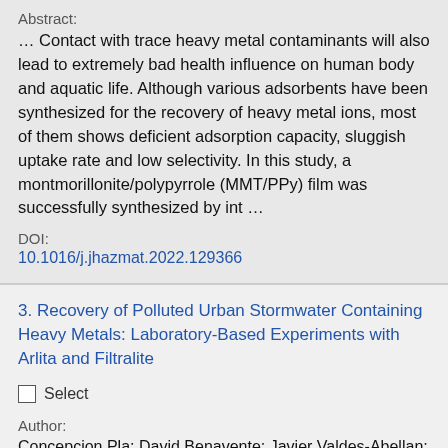Abstract:
… Contact with trace heavy metal contaminants will also lead to extremely bad health influence on human body and aquatic life. Although various adsorbents have been synthesized for the recovery of heavy metal ions, most of them shows deficient adsorption capacity, sluggish uptake rate and low selectivity. In this study, a montmorillonite/polypyrrole (MMT/PPy) film was successfully synthesized by int …
DOI:
10.1016/j.jhazmat.2022.129366
3. Recovery of Polluted Urban Stormwater Containing Heavy Metals: Laboratory-Based Experiments with Arlita and Filtralite
Select
Author:
Concepcion Pla; David Benavente; Javier Valdes-Abellan;